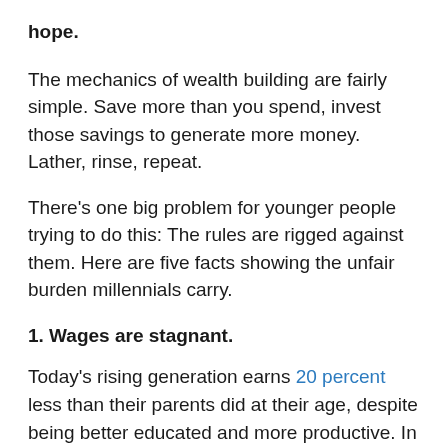hope.
The mechanics of wealth building are fairly simple. Save more than you spend, invest those savings to generate more money. Lather, rinse, repeat.
There's one big problem for younger people trying to do this: The rules are rigged against them. Here are five facts showing the unfair burden millennials carry.
1. Wages are stagnant.
Today's rising generation earns 20 percent less than their parents did at their age, despite being better educated and more productive. In fact, millennials are on track to become the first generation in modern American history to make less money than their parents did.